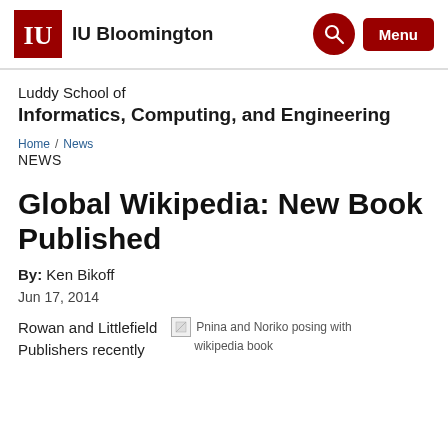IU Bloomington
Luddy School of Informatics, Computing, and Engineering
Home / News
NEWS
Global Wikipedia: New Book Published
By: Ken Bikoff
Jun 17, 2014
Rowan and Littlefield Publishers recently
[Figure (photo): Pnina and Noriko posing with wikipedia book (broken image placeholder)]